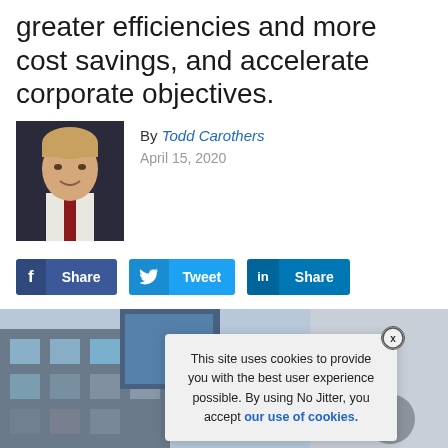greater efficiencies and more cost savings, and accelerate corporate objectives.
By Todd Carothers
April 15, 2020
[Figure (photo): Headshot of Todd Carothers, a man in a dark suit with a red tie]
[Figure (infographic): Social share buttons: Facebook Share, Twitter Tweet, LinkedIn Share]
[Figure (photo): Background photo of a building exterior with a cookie consent popup overlay reading: This site uses cookies to provide you with the best user experience possible. By using No Jitter, you accept our use of cookies.]
This site uses cookies to provide you with the best user experience possible. By using No Jitter, you accept our use of cookies.